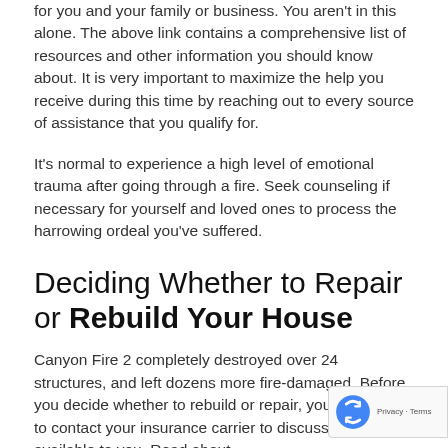for you and your family or business. You aren't in this alone. The above link contains a comprehensive list of resources and other information you should know about. It is very important to maximize the help you receive during this time by reaching out to every source of assistance that you qualify for.
It's normal to experience a high level of emotional trauma after going through a fire. Seek counseling if necessary for yourself and loved ones to process the harrowing ordeal you've suffered.
Deciding Whether to Repair or Rebuild Your House
Canyon Fire 2 completely destroyed over 24 structures, and left dozens more fire-damaged. Before you decide whether to rebuild or repair, you may need to contact your insurance carrier to discuss the options available to you. Read about